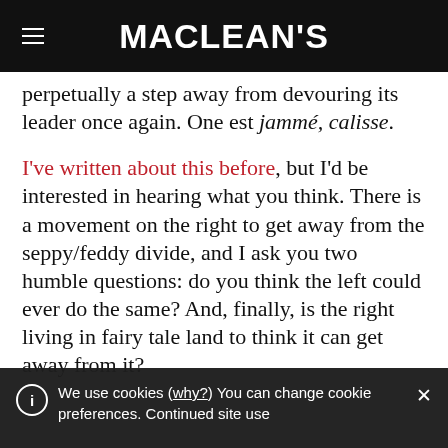MACLEAN'S
perpetually a step away from devouring its leader once again. One est jammé, calisse.
I've written about this before, but I'd be interested in hearing what you think. There is a movement on the right to get away from the seppy/feddy divide, and I ask you two humble questions: do you think the left could ever do the same? And, finally, is the right living in fairy tale land to think it can get away from it?
We use cookies (why?) You can change cookie preferences. Continued site use